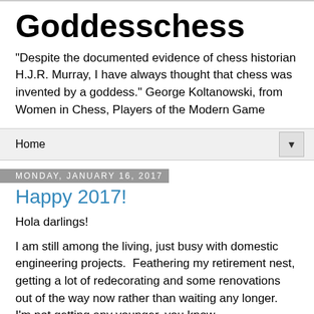Goddesschess
"Despite the documented evidence of chess historian H.J.R. Murray, I have always thought that chess was invented by a goddess." George Koltanowski, from Women in Chess, Players of the Modern Game
Home
Monday, January 16, 2017
Happy 2017!
Hola darlings!
I am still among the living, just busy with domestic engineering projects.  Feathering my retirement nest, getting a lot of redecorating and some renovations out of the way now rather than waiting any longer.  I'm not getting any younger, you know.